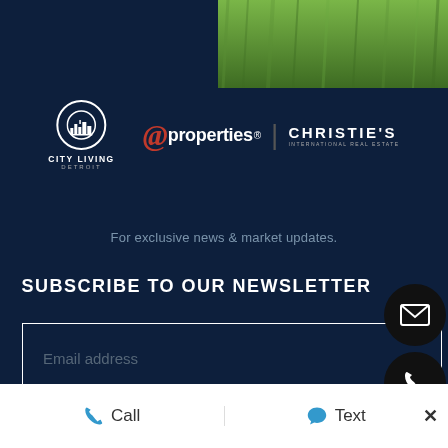[Figure (photo): Aerial or close-up photo of green grass lawn, top-right corner of page]
[Figure (logo): City Living Detroit logo (circular city skyline icon with text) alongside @properties | Christie's International Real Estate logo]
For exclusive news & market updates.
SUBSCRIBE TO OUR NEWSLETTER
Email address (input field placeholder)
Call
Text